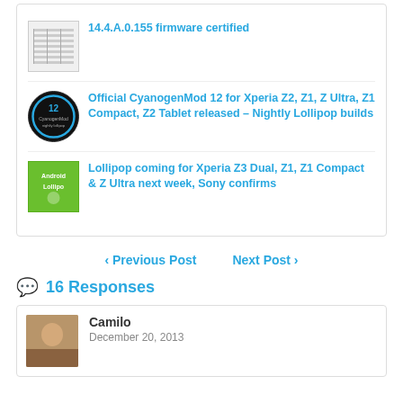14.4.A.0.155 firmware certified
Official CyanogenMod 12 for Xperia Z2, Z1, Z Ultra, Z1 Compact, Z2 Tablet released – Nightly Lollipop builds
Lollipop coming for Xperia Z3 Dual, Z1, Z1 Compact & Z Ultra next week, Sony confirms
< Previous Post   Next Post >
16 Responses
Camilo
December 20, 2013